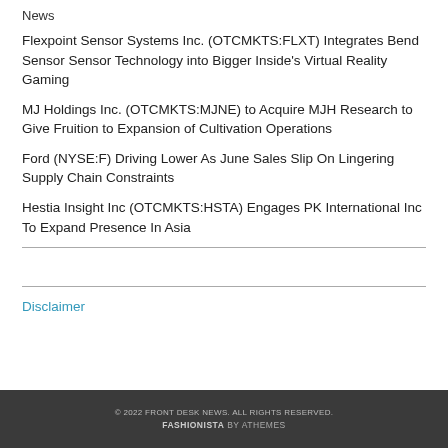News
Flexpoint Sensor Systems Inc. (OTCMKTS:FLXT) Integrates Bend Sensor Sensor Technology into Bigger Inside's Virtual Reality Gaming
MJ Holdings Inc. (OTCMKTS:MJNE) to Acquire MJH Research to Give Fruition to Expansion of Cultivation Operations
Ford (NYSE:F) Driving Lower As June Sales Slip On Lingering Supply Chain Constraints
Hestia Insight Inc (OTCMKTS:HSTA) Engages PK International Inc To Expand Presence In Asia
Disclaimer
© 2022 FRONT DESK NEWS. ALL RIGHTS RESERVED. FASHIONISTA BY ATHEMES